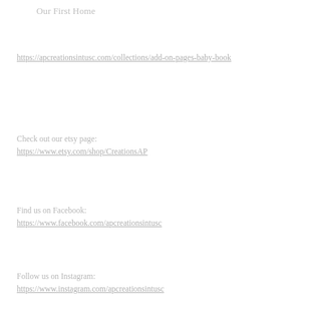Our First Home
https://apcreationsintusc.com/collections/add-on-pages-baby-book
Check out our etsy page:
https://www.etsy.com/shop/CreationsAP
Find us on Facebook:
https://www.facebook.com/apcreationsintusc
Follow us on Instagram:
https://www.instagram.com/apcreationsintusc